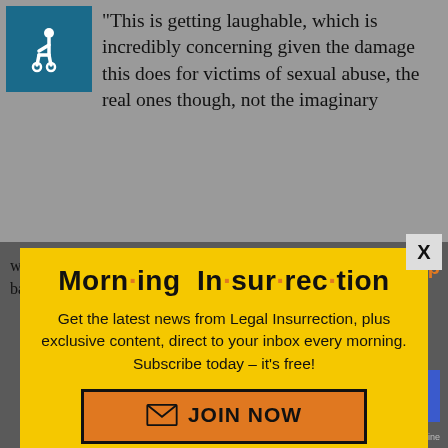[Figure (screenshot): Wheelchair accessibility icon in teal/dark blue square]
“This is getting laughable, which is incredibly concerning given the damage this does for victims of sexual abuse, the real ones though, not the imaginary
were followed to letter. In most cases a sexual batte ed was obtained and evidence linking the
[Figure (screenshot): Close (X) button]
[Figure (screenshot): NEXT button with double chevron]
[Figure (infographic): Morning Insurrection newsletter signup modal with yellow background, orange dots in title, subscribe call to action and JOIN NOW button]
Morn·ing In·sur·rec·tion
Get the latest news from Legal Insurrection, plus exclusive content, direct to your inbox every morning. Subscribe today – it’s free!
JOIN NOW